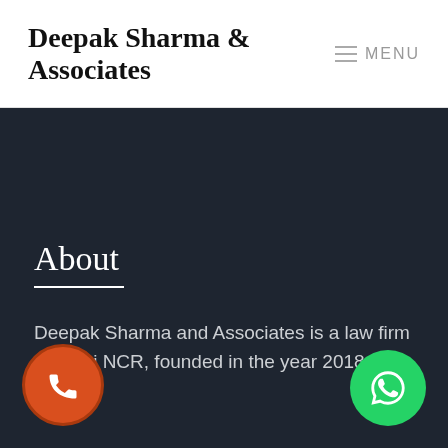Deepak Sharma & Associates   ☰ MENU
About
Deepak Sharma and Associates is a law firm in Delhi NCR, founded in the year 2018.